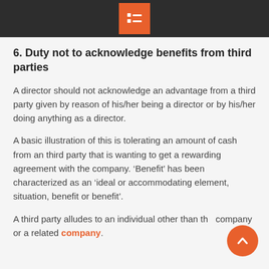[menu icon]
6. Duty not to acknowledge benefits from third parties
A director should not acknowledge an advantage from a third party given by reason of his/her being a director or by his/her doing anything as a director.
A basic illustration of this is tolerating an amount of cash from an third party that is wanting to get a rewarding agreement with the company. ‘Benefit’ has been characterized as an ‘ideal or accommodating element, situation, benefit or benefit’.
A third party alludes to an individual other than the company or a related company.
This duty likewise keeps on applying after an